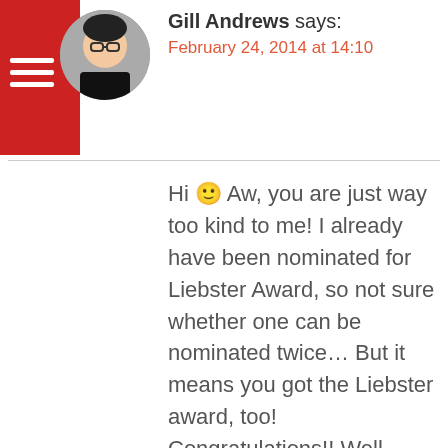[Figure (photo): Avatar photo of Gill Andrews - woman with glasses and red background with hamburger menu icon]
Gill Andrews says:
February 24, 2014 at 14:10
Hi 🙂 Aw, you are just way too kind to me! I already have been nominated for Liebster Award, so not sure whether one can be nominated twice... But it means you got the Liebster award, too! Congratulations!! Well deserved 🙂 Is blogging fun or what? 😉